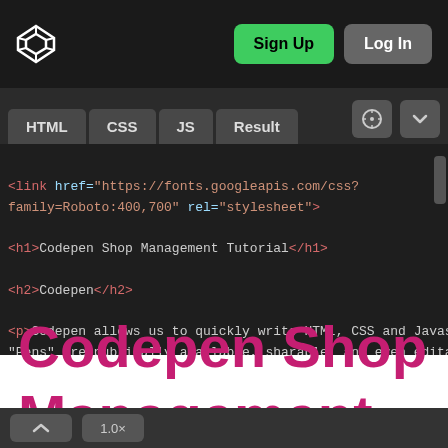[Figure (screenshot): CodePen website interface screenshot showing navigation bar with Sign Up (green) and Log In (gray) buttons, tab bar with HTML/CSS/JS/Result tabs, HTML code editor showing link tag for Google Fonts Roboto, h1 tag for Codepen Shop Management Tutorial, h2 tag for Codepen, and p tag for Codepen description, and a result preview panel showing large bold pink text reading Codepen Shop Management]
<link href="https://fonts.googleapis.com/css?family=Roboto:400,700" rel="stylesheet">
<h1>Codepen Shop Management Tutorial</h1>
<h2>Codepen</h2>
<p>Codepen allows us to quickly write HTML, CSS and Javascript. "Pens" are publically available, sharable, and even editable.
Codepen Shop Management